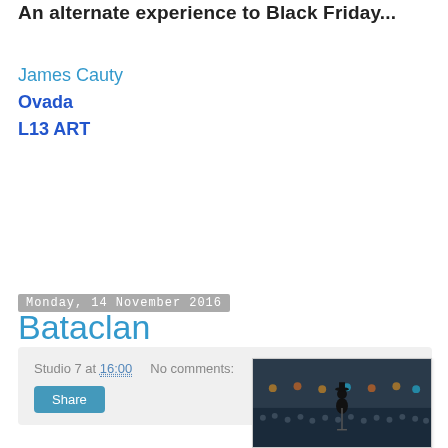An alternate experience to Black Friday...
James Cauty
Ovada
L13 ART
Studio 7 at 16:00   No comments:
Share
Monday, 14 November 2016
Bataclan
[Figure (photo): Concert photo showing performer on stage with large crowd in background, dark venue lighting]